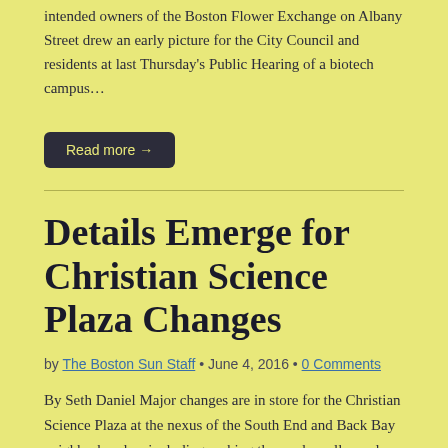intended owners of the Boston Flower Exchange on Albany Street drew an early picture for the City Council and residents at last Thursday's Public Hearing of a biotech campus…
Read more →
Details Emerge for Christian Science Plaza Changes
by The Boston Sun Staff • June 4, 2016 • 0 Comments
By Seth Daniel Major changes are in store for the Christian Science Plaza at the nexus of the South End and Back Bay neighborhoods – including making the pool smaller and shallower – as announced Tuesday night at the St.…
Read more →